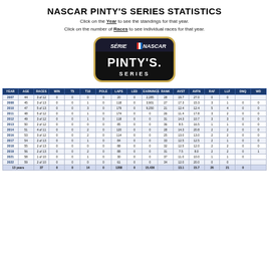NASCAR PINTY'S SERIES STATISTICS
Click on the Year to see the standings for that year.
Click on the number of Races to see individual races for that year.
[Figure (logo): NASCAR Pinty's Series logo — black rounded rectangle with gold border, 'SÉRIE NASCAR' in white italic on top, 'PINTY'S.' in large white bold text, 'SERIES' below in white]
| YEAR | AGE | RACES | WIN | T5 | T10 | POLE | LAPS | LED | EARNINGS | RANK | AVST | AVFN | RAF | LLF | DNQ | WD |
| --- | --- | --- | --- | --- | --- | --- | --- | --- | --- | --- | --- | --- | --- | --- | --- | --- |
| 2007 | 44 | 3 of 12 | 0 | 0 | 0 | 0 | 20 | 0 | 2,285 | 28 | 19.7 | 27.0 | 0 | 0 |  |  |
| 2008 | 45 | 3 of 13 | 0 | 0 | 1 | 0 | 118 | 0 | 3,901 | 27 | 17.3 | 15.3 | 3 | 1 | 0 | 0 |
| 2010 | 47 | 5 of 13 | 0 | 0 | 3 | 0 | 179 | 0 | 9,250 | 21 | 12.4 | 12.4 | 5 | 4 | 0 | 0 |
| 2011 | 48 | 5 of 12 | 0 | 0 | 1 | 0 | 174 | 0 | 0 | 26 | 11.4 | 17.8 | 3 | 2 | 0 | 0 |
| 2012 | 49 | 3 of 12 | 0 | 0 | 1 | 0 | 118 | 0 | 0 | 31 | 14.3 | 10.7 | 3 | 3 | 0 | 0 |
| 2013 | 50 | 2 of 12 | 0 | 0 | 0 | 0 | 85 | 0 | 0 | 36 | 8.5 | 16.5 | 1 | 1 | 0 | 0 |
| 2014 | 51 | 4 of 11 | 0 | 0 | 2 | 0 | 120 | 0 | 0 | 28 | 14.3 | 20.8 | 2 | 2 | 0 | 0 |
| 2016 | 53 | 3 of 12 | 0 | 0 | 2 | 0 | 114 | 0 | 0 | 25 | 13.0 | 13.0 | 2 | 2 | 0 | 0 |
| 2017 | 54 | 2 of 13 | 0 | 0 | 1 | 0 | 84 | 0 | 0 | 33 | 12.5 | 12.5 | 2 | 1 | 0 | 0 |
| 2018 | 55 | 2 of 13 | 0 | 0 | 0 | 0 | 88 | 0 | 0 | 32 | 12.5 | 12.0 | 2 | 2 | 0 | 0 |
| 2019 | 56 | 2 of 13 | 0 | 0 | 2 | 0 | 88 | 0 | 0 | 31 | 7.5 | 8.0 | 2 | 2 | 0 | 1 |
| 2021 | 58 | 1 of 10 | 0 | 0 | 1 | 0 | 30 | 0 | 0 | 37 | 11.0 | 10.0 | 1 | 1 | 0 |  |
| 2022 | 59 | 2 of 10 | 0 | 0 | 0 | 0 | 61 | 0 | 0 | 34 | 12.0 | 20.0 | 0 | 0 |  |  |
| 13 years |  | 37 | 0 | 0 | 14 | 0 | 1288 | 0 | 15,436 |  | 13.1 | 15.7 | 26 | 21 | 0 |  |